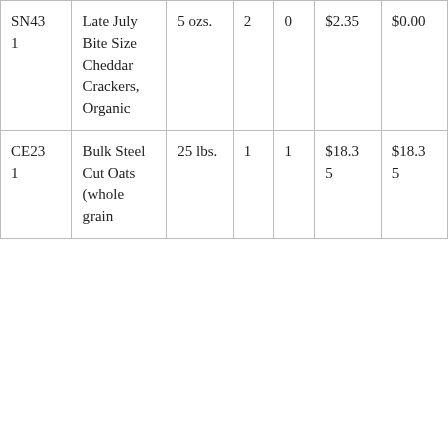| SN431 | Late July Bite Size Cheddar Crackers, Organic | 5 ozs. | 2 | 0 | $2.35 | $0.00 |
| CE231 | Bulk Steel Cut Oats (whole grain… | 25 lbs. | 1 | 1 | $18.35 | $18.35 |